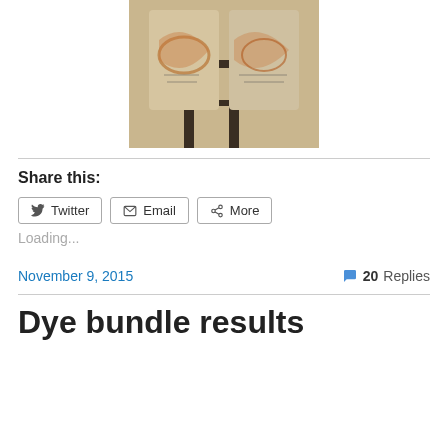[Figure (photo): Photo of patterned/dyed shirts or fabric with orange and brown designs hanging or displayed against a dark background]
Share this:
Twitter  Email  More
Loading...
November 9, 2015
20 Replies
Dye bundle results